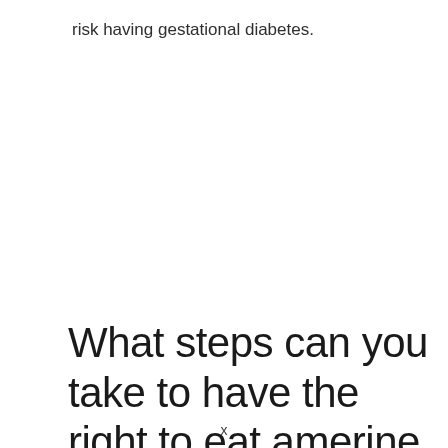risk having gestational diabetes.
What steps can you take to have the right to eat amerine ice when you are
x